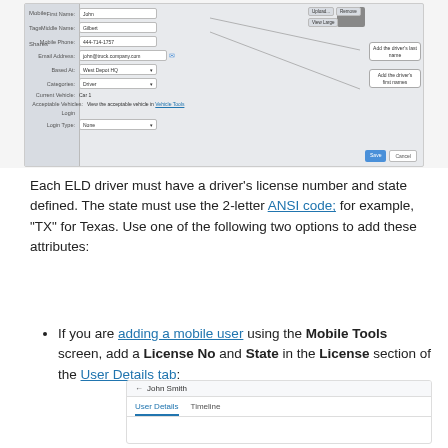[Figure (screenshot): A software UI screenshot showing a driver/mobile user form with fields for First Name (John), Middle Name (Gilbert), Mobile Phone, Email Address, Based At, Categories, Current Vehicle, Acceptable Vehicles, and Login section. Two callout boxes on the right point to fields labeled 'Add the driver's last name' and 'Add the driver's first names'.]
Each ELD driver must have a driver's license number and state defined. The state must use the 2-letter ANSI code; for example, "TX" for Texas. Use one of the following two options to add these attributes:
If you are adding a mobile user using the Mobile Tools screen, add a License No and State in the License section of the User Details tab:
[Figure (screenshot): A small UI fragment showing a back arrow with 'John Smith' name and two tabs: 'User Details' (active, underlined) and 'Timeline'.]